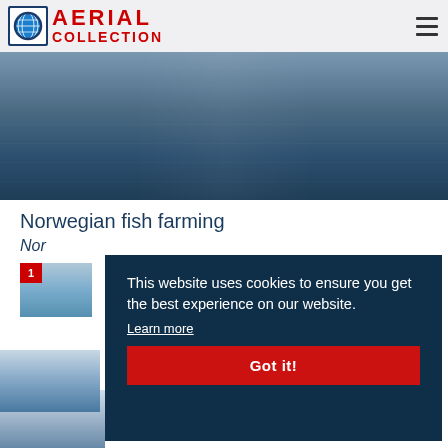AERIAL COLLECTION
[Figure (photo): Aerial view of dark blue water surface, Norwegian fish farming area]
Norwegian fish farming
Nor
[Figure (photo): Small thumbnail photos related to Norwegian fish farming; badge showing number 1]
This website uses cookies to ensure you get the best experience on our website. Learn more
Got it!